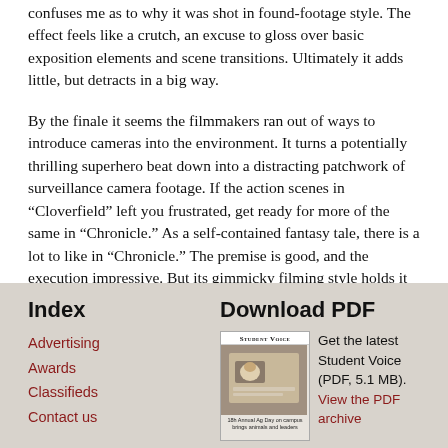confuses me as to why it was shot in found-footage style. The effect feels like a crutch, an excuse to gloss over basic exposition elements and scene transitions. Ultimately it adds little, but detracts in a big way.
By the finale it seems the filmmakers ran out of ways to introduce cameras into the environment. It turns a potentially thrilling superhero beat down into a distracting patchwork of surveillance camera footage. If the action scenes in “Cloverfield” left you frustrated, get ready for more of the same in “Chronicle.” As a self-contained fantasy tale, there is a lot to like in “Chronicle.” The premise is good, and the execution impressive. But its gimmicky filming style holds it back from greatness.
Michael Brun is an alumnus of UW-River Falls.
Index
Advertising
Awards
Classifieds
Contact us
Download PDF
[Figure (other): Thumbnail image of Student Voice newspaper PDF cover]
Get the latest Student Voice (PDF, 5.1 MB). View the PDF archive